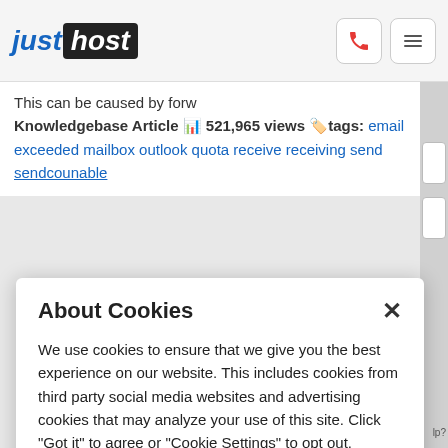justhost
This can be caused by forw
Knowledgebase Article 📊 521,965 views 🏷️ tags: email exceeded mailbox outlook quota receive receiving send sendcounable
About Cookies
We use cookies to ensure that we give you the best experience on our website. This includes cookies from third party social media websites and advertising cookies that may analyze your use of this site. Click "Got it" to agree or "Cookie Settings" to opt out.
Cookie Notice
Got It
Cookies Settings